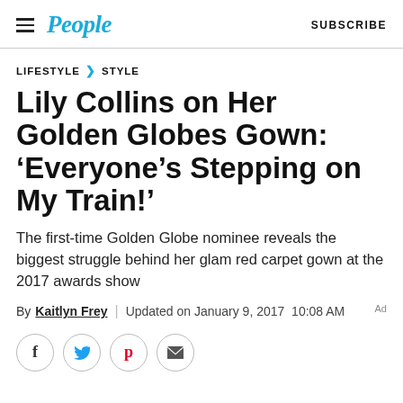People | SUBSCRIBE
LIFESTYLE > STYLE
Lily Collins on Her Golden Globes Gown: ‘Everyone’s Stepping on My Train!’
The first-time Golden Globe nominee reveals the biggest struggle behind her glam red carpet gown at the 2017 awards show
By Kaitlyn Frey | Updated on January 9, 2017 10:08 AM
[Figure (other): Social sharing icons: Facebook, Twitter, Pinterest, Email]